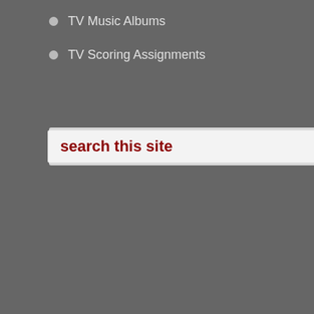TV Music Albums
TV Scoring Assignments
search this site
[Figure (screenshot): YouTube video thumbnail showing a person in a red shirt, with 'Watch on' YouTube button overlay and partial large text 'OE' visible]
[Figure (screenshot): Dark banner graphic with paint splatter icon and text 'No Co...' (No Comments)]
[Figure (screenshot): Gray splattered background banner with arrow icon and text 'Hav...' (Have a question?) with a light gray box at bottom]